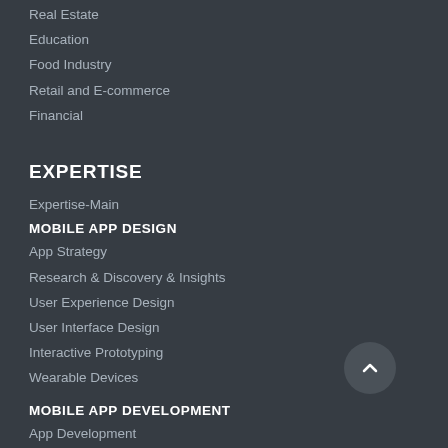Real Estate
Education
Food Industry
Retail and E-commerce
Financial
EXPERTISE
Expertise-Main
MOBILE APP DESIGN
App Strategy
Research & Discovery & Insights
User Experience Design
User Interface Design
Interactive Prototyping
Wearable Devices
MOBILE APP DEVELOPMENT
App Development
Testing & Quality Assurance
Support & Maintenance